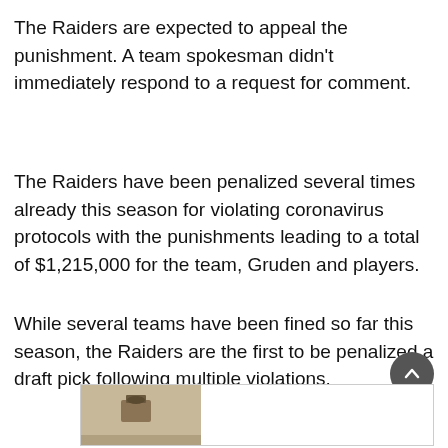The Raiders are expected to appeal the punishment. A team spokesman didn't immediately respond to a request for comment.
The Raiders have been penalized several times already this season for violating coronavirus protocols with the punishments leading to a total of $1,215,000 for the team, Gruden and players.
While several teams have been fined so far this season, the Raiders are the first to be penalized a draft pick following multiple violations.
[Figure (photo): Advertisement box with a small thumbnail image on the left showing what appears to be a room interior scene.]